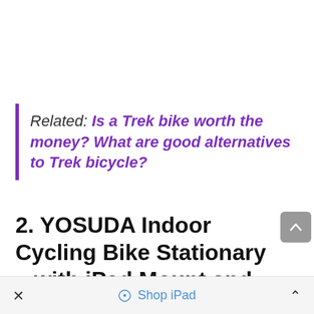Related: Is a Trek bike worth the money? What are good alternatives to Trek bicycle?
2. YOSUDA Indoor Cycling Bike Stationary – with iPad Mount and Comfortable Seat Cushion
× Shop iPad ^